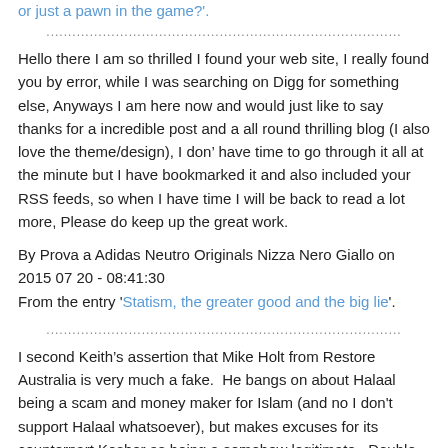or just a pawn in the game?'.
Hello there I am so thrilled I found your web site, I really found you by error, while I was searching on Digg for something else, Anyways I am here now and would just like to say thanks for a incredible post and a all round thrilling blog (I also love the theme/design), I don’ have time to go through it all at the minute but I have bookmarked it and also included your RSS feeds, so when I have time I will be back to read a lot more, Please do keep up the great work.
By Prova a Adidas Neutro Originals Nizza Nero Giallo on 2015 07 20 - 08:41:30
From the entry 'Statism, the greater good and the big lie'.
I second Keith’s assertion that Mike Holt from Restore Australia is very much a fake.  He bangs on about Halaal being a scam and money maker for Islam (and no I don't support Halaal whatsoever), but makes excuses for its counterpart Kosher as being a somehow legitimate.  Double standards?  When I confronted him about this fact he went off on a convoluted tirade about Israel being some sort of “Bastion of Democracy” in the middle east... Really!, I will leave that one up to the